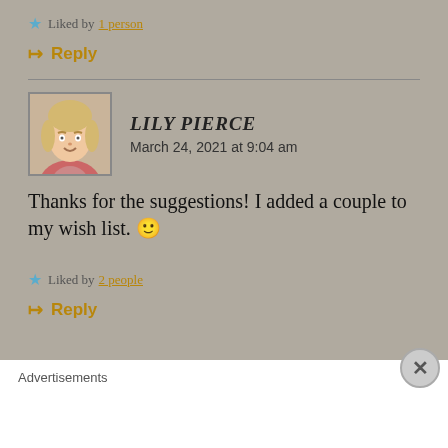Liked by 1 person
↦ Reply
LILY PIERCE
March 24, 2021 at 9:04 am
Thanks for the suggestions! I added a couple to my wish list. 🙂
Liked by 2 people
↦ Reply
Advertisements